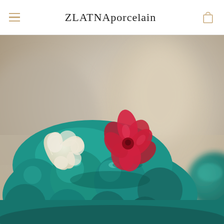ZLATNAporcelain
[Figure (photo): Close-up photograph of a teal/turquoise porcelain figurine (appears to be a frog or similar creature) with white wing-like decorative elements and a red flower on top, blurred beige/tan background with soft bokeh, another teal round object visible on the right edge.]